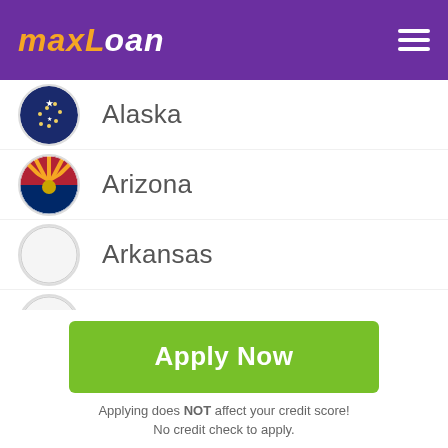MAXLOAN
Alaska
Arizona
Arkansas
California
Colorado
Connecticut
Delaware
Apply Now
Applying does NOT affect your credit score! No credit check to apply.